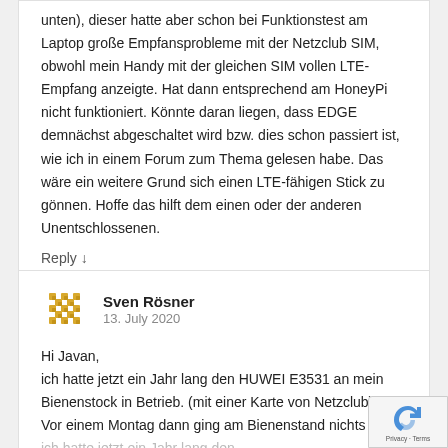unten), dieser hatte aber schon bei Funktionstest am Laptop große Empfansprobleme mit der Netzclub SIM, obwohl mein Handy mit der gleichen SIM vollen LTE-Empfang anzeigte. Hat dann entsprechend am HoneyPi nicht funktioniert. Könnte daran liegen, dass EDGE demnächst abgeschaltet wird bzw. dies schon passiert ist, wie ich in einem Forum zum Thema gelesen habe. Das wäre ein weitere Grund sich einen LTE-fähigen Stick zu gönnen. Hoffe das hilft dem einen oder der anderen Unentschlossenen.
Reply ↓
Sven Rösner
13. July 2020
Hi Javan,
ich hatte jetzt ein Jahr lang den HUWEI E3531 an mein... Bienenstock in Betrieb. (mit einer Karte von Netzclub) Vor einem Montag dann ging am Bienenstand nichts me...